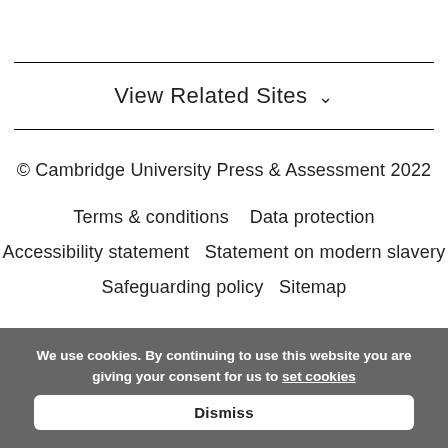View Related Sites ˅
© Cambridge University Press & Assessment 2022
Terms & conditions    Data protection
Accessibility statement   Statement on modern slavery
Safeguarding policy   Sitemap
We use cookies. By continuing to use this website you are giving your consent for us to set cookies
Dismiss